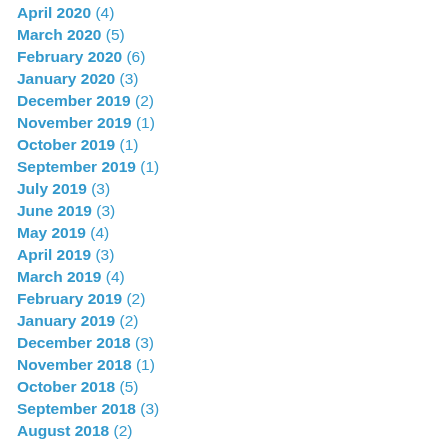April 2020 (4)
March 2020 (5)
February 2020 (6)
January 2020 (3)
December 2019 (2)
November 2019 (1)
October 2019 (1)
September 2019 (1)
July 2019 (3)
June 2019 (3)
May 2019 (4)
April 2019 (3)
March 2019 (4)
February 2019 (2)
January 2019 (2)
December 2018 (3)
November 2018 (1)
October 2018 (5)
September 2018 (3)
August 2018 (2)